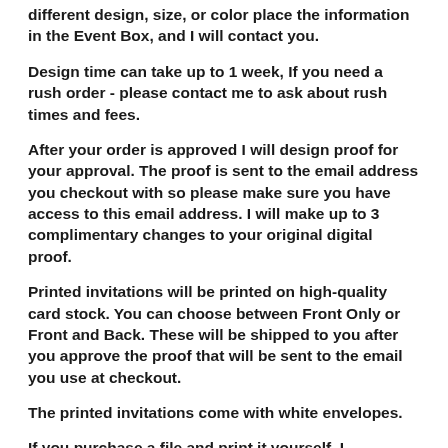different design, size, or color place the information in the Event Box, and I will contact you.
Design time can take up to 1 week, If you need a rush order - please contact me to ask about rush times and fees.
After your order is approved I will design proof for your approval. The proof is sent to the email address you checkout with so please make sure you have access to this email address. I will make up to 3 complimentary changes to your original digital proof.
Printed invitations will be printed on high-quality card stock. You can choose between Front Only or Front and Back. These will be shipped to you after you approve the proof that will be sent to the email you use at checkout.
The printed invitations come with white envelopes.
If you purchase a file and print it yourself. I recommend a professional quality printer and photo quality cardstock that is thick. Cardstock is very absorbent and will soak up a lot of ink